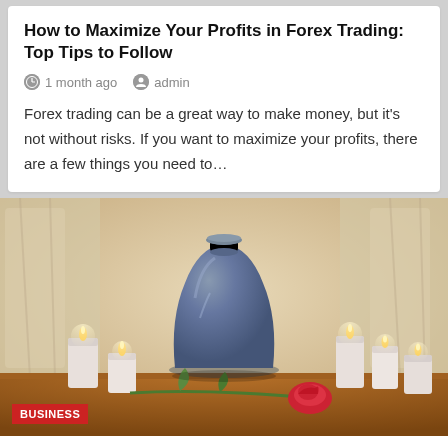How to Maximize Your Profits in Forex Trading: Top Tips to Follow
1 month ago  admin
Forex trading can be a great way to make money, but it's not without risks. If you want to maximize your profits, there are a few things you need to…
[Figure (photo): Photo of a grey granite cremation urn surrounded by white candles and a red rose on a wooden surface, with soft-focus background of curtains and columns. A red 'BUSINESS' badge overlays the bottom-left of the image.]
The Benefits Of Cremation Services: Flexibility